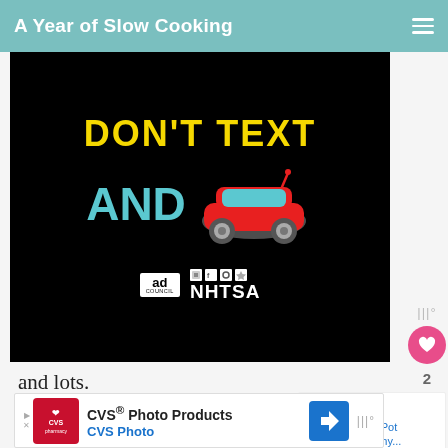A Year of Slow Cooking
[Figure (photo): Black background image with text 'DON'T TEXT AND' plus a red car emoji, and logos for Ad Council and NHTSA at the bottom — a distracted driving public service announcement.]
and lots.
Being a die-hard optimist, I figured I
it.
[Figure (infographic): WHAT'S NEXT panel showing a thumbnail image of granola/crunchy food with text 'CrockPot Crunchy...']
[Figure (other): CVS Photo Products advertisement banner with CVS Pharmacy logo, text 'CVS® Photo Products' and 'CVS Photo', and a blue navigation arrow icon.]